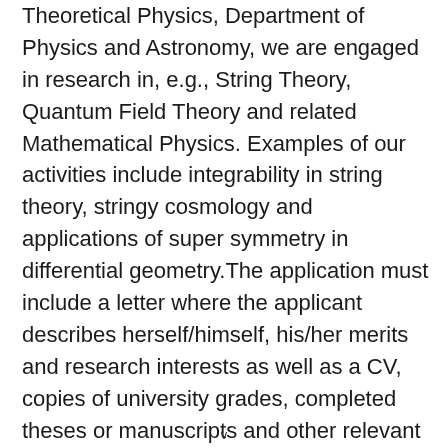Theoretical Physics, Department of Physics and Astronomy, we are engaged in research in, e.g., String Theory, Quantum Field Theory and related Mathematical Physics. Examples of our activities include integrability in string theory, stringy cosmology and applications of super symmetry in differential geometry.The application must include a letter where the applicant describes herself/himself, his/her merits and research interests as well as a CV, copies of university grades, completed theses or manuscripts and other relevant publications We appreciate if letters of recommendation are
v